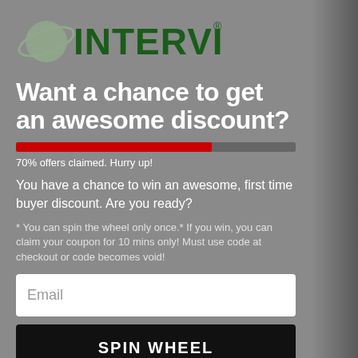[Figure (logo): Intervine logo with planet/orbit graphic in grey-green and dark green bold text reading INTERVINE with registered trademark symbol]
Want a chance to get an awesome discount?
[Figure (infographic): Progress bar showing 70% filled in red, 30% remaining in grey]
70% offers claimed. Hurry up!
You have a chance to win an awesome, first time buyer discount. Are you ready?
* You can spin the wheel only once.* If you win, you can claim your coupon for 10 mins only! Must use code at checkout or code becomes void!
Email
SPIN WHEEL